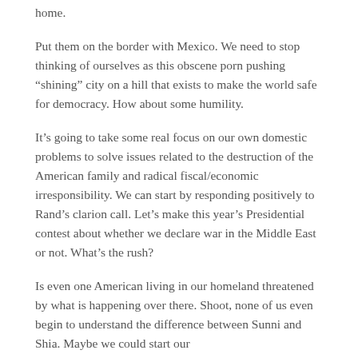home.
Put them on the border with Mexico.  We need to stop thinking of ourselves as this obscene porn pushing “shining” city on a hill that exists to make the world safe for democracy.  How about some humility.
It’s going to take some real focus on our own domestic problems to solve issues related to the destruction of the American family and radical fiscal/economic irresponsibility.  We can start by responding positively to Rand’s clarion call.   Let’s make this year’s Presidential contest about whether we declare war in the Middle East or not.  What’s the rush?
Is even one American living in our homeland threatened by what is happening over there.  Shoot, none of us even begin to understand the difference between Sunni and Shia.  Maybe we could start our